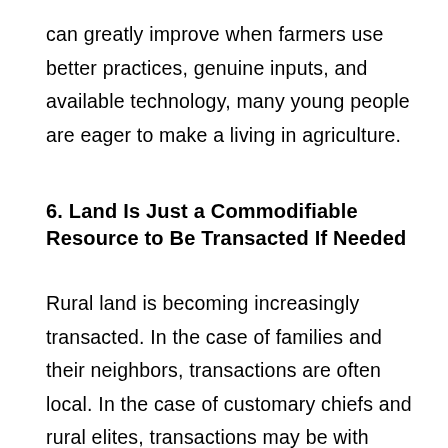can greatly improve when farmers use better practices, genuine inputs, and available technology, many young people are eager to make a living in agriculture.
6. Land Is Just a Commodifiable Resource to Be Transacted If Needed
Rural land is becoming increasingly transacted. In the case of families and their neighbors, transactions are often local. In the case of customary chiefs and rural elites, transactions may be with capital city elites or more distant buyers. As land transactions have multiplied in recent decades, often involving city dwellers and